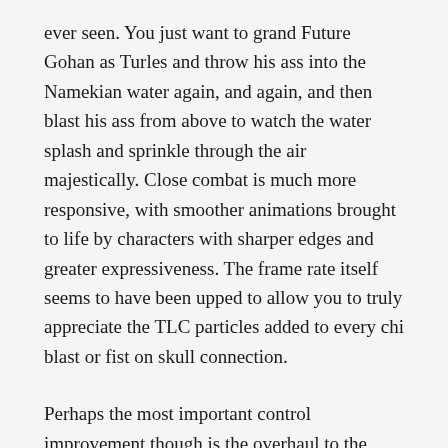ever seen. You just want to grand Future Gohan as Turles and throw his ass into the Namekian water again, and again, and then blast his ass from above to watch the water splash and sprinkle through the air majestically. Close combat is much more responsive, with smoother animations brought to life by characters with sharper edges and greater expressiveness. The frame rate itself seems to have been upped to allow you to truly appreciate the TLC particles added to every chi blast or fist on skull connection.
Perhaps the most important control improvement though is the overhaul to the dash system. Mastering control of dashing in Xenoverse 1 was an acquired skill that paid serious dividends, but a bit off-putting when combined with the lock on lock off system for players unfamiliar with the 3D X/Y axis fighting genre. Players can now more easily strafe quickly to the sides to dodge incoming qi blasts without throwing your camera into a